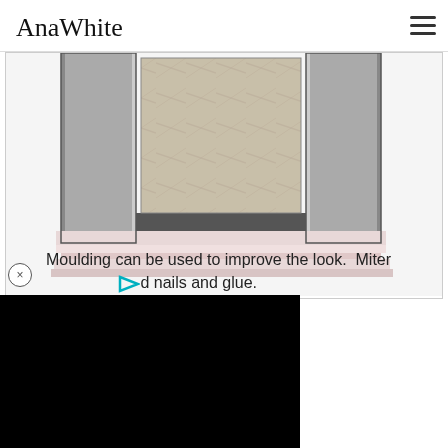AnaWhite
[Figure (illustration): 3D diagram of a fireplace mantel with moulding detail showing grey columns, marble center panel, and pink/white decorative base moulding]
Moulding can be used to improve the look.  Miter         d nails and glue.
[Figure (screenshot): Black video player area]